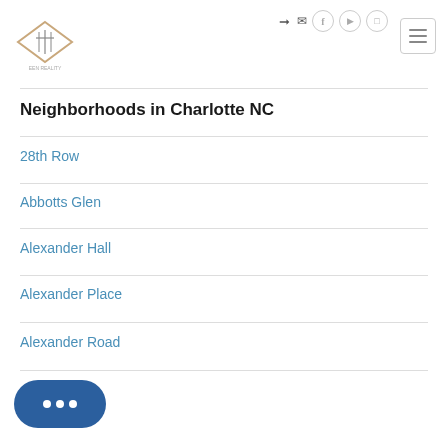[Figure (logo): Diamond-shaped real estate logo with stylized building icon]
Neighborhoods in Charlotte NC
28th Row
Abbotts Glen
Alexander Hall
Alexander Place
Alexander Road
...rk